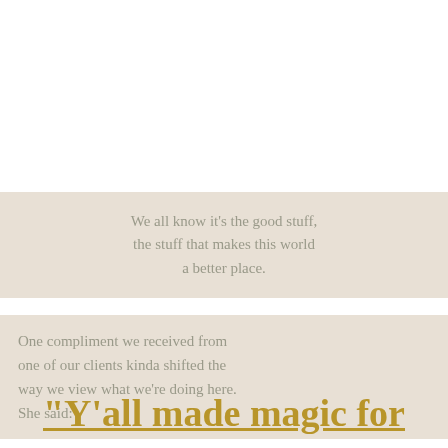We all know it's the good stuff, the stuff that makes this world a better place.
One compliment we received from one of our clients kinda shifted the way we view what we're doing here. She said:
"Y'all made magic for us